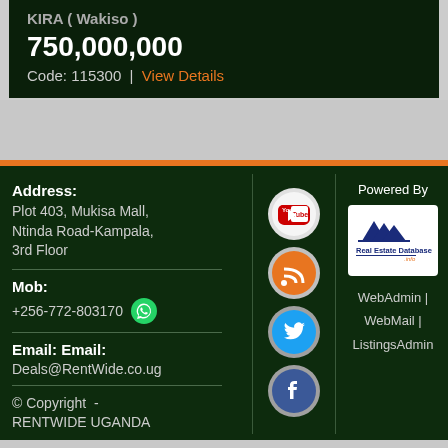KIRA (Wakiso)
750,000,000
Code: 115300 | View Details
Address: Plot 403, Mukisa Mall, Ntinda Road-Kampala, 3rd Floor
Mob: +256-772-803170
Email: Email: Deals@RentWide.co.ug
© Copyright - RENTWIDE UGANDA
[Figure (logo): YouTube social media icon - circular sticker style]
[Figure (logo): RSS feed social media icon - orange circular sticker style]
[Figure (logo): Twitter social media icon - blue circular sticker style]
[Figure (logo): Facebook social media icon - blue circular sticker style]
Powered By
[Figure (logo): Real Estate Database logo with house icon and text]
WebAdmin | WebMail | ListingsAdmin